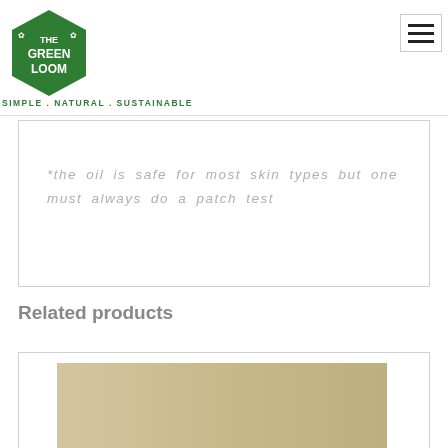THE GREEN LOOM — SIMPLE . NATURAL . SUSTAINABLE
*the oil is safe for most skin types but one must always do a patch test
Related products
[Figure (photo): Bottom portion of a product image card, showing a tan/beige gradient product image strip]